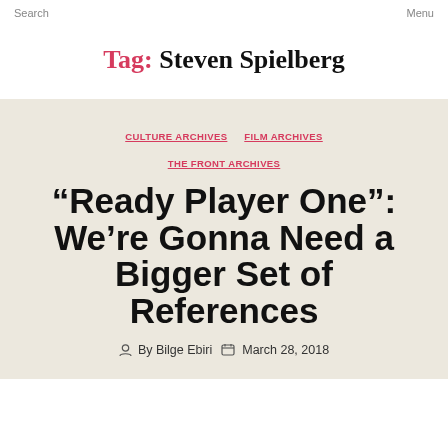Search   Menu
Tag: Steven Spielberg
CULTURE ARCHIVES   FILM ARCHIVES   THE FRONT ARCHIVES
“Ready Player One”: We’re Gonna Need a Bigger Set of References
By Bilge Ebiri   March 28, 2018